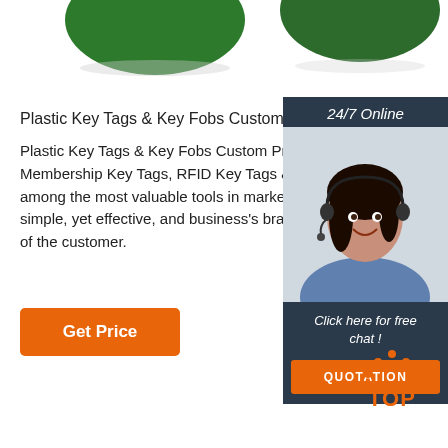[Figure (photo): Green oval plastic key tags/fobs photo at top of page]
Plastic Key Tags & Key Fobs Custom Printed
Plastic Key Tags & Key Fobs Custom Printed Barco Membership Key Tags, RFID Key Tags & More. Plas among the most valuable tools in marketing your bu simple, yet effective, and business's branding direct of the customer.
[Figure (photo): Customer service representative with headset, smiling, with 24/7 Online header and Click here for free chat text and QUOTATION button]
[Figure (other): TOP back-to-top icon with orange dots and orange text]